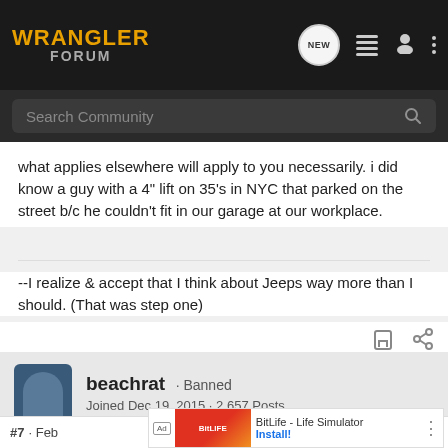WRANGLER FORUM
what applies elsewhere will apply to you necessarily. i did know a guy with a 4" lift on 35's in NYC that parked on the street b/c he couldn't fit in our garage at our workplace.
--I realize & accept that I think about Jeeps way more than I should. (That was step one)
beachrat · Banned
Joined Dec 19, 2015 · 2,657 Posts
#7 · Feb
BitLife - Life Simulator — Install!